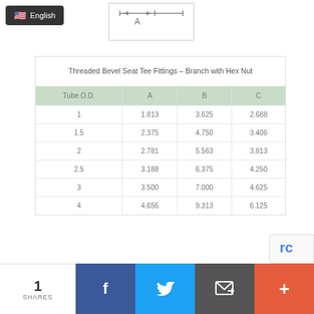[Figure (schematic): Engineering diagram showing dimension A with arrows indicating measurement span]
Threaded Bevel Seat Tee Fittings – Branch with Hex Nut
| Tube O.D. | A | B | C |
| --- | --- | --- | --- |
| 1 | 1.813 | 3.625 | 2.688 |
| 1.5 | 2.375 | 4.750 | 3.406 |
| 2 | 2.781 | 5.563 | 3.813 |
| 2.5 | 3.188 | 6.375 | 4.250 |
| 3 | 3.500 | 7.000 | 4.625 |
| 4 | 4.656 | 9.313 | 6.125 |
1 SHARES
English